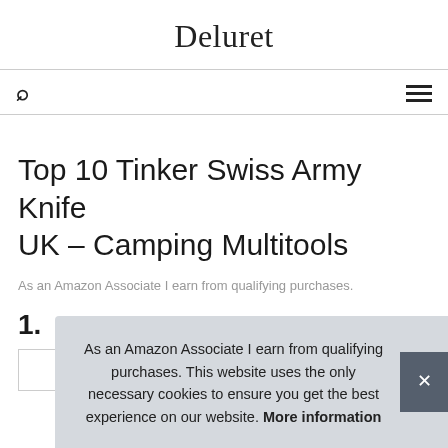Deluret
Top 10 Tinker Swiss Army Knife UK – Camping Multitools
As an Amazon Associate I earn from qualifying purchases.
1.
As an Amazon Associate I earn from qualifying purchases. This website uses the only necessary cookies to ensure you get the best experience on our website. More information